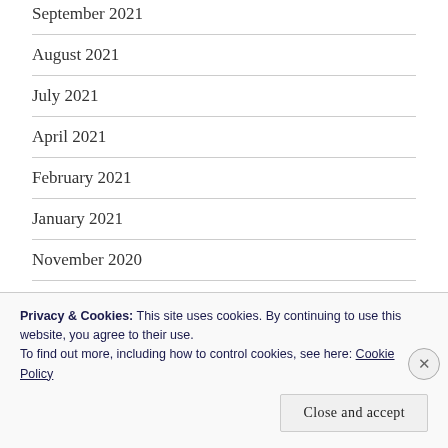September 2021
August 2021
July 2021
April 2021
February 2021
January 2021
November 2020
October 2020
September 2020
Privacy & Cookies: This site uses cookies. By continuing to use this website, you agree to their use.
To find out more, including how to control cookies, see here: Cookie Policy
Close and accept